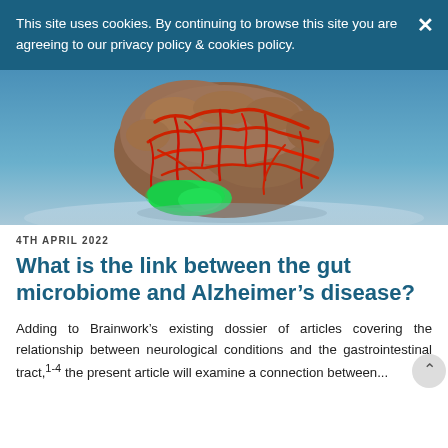This site uses cookies. By continuing to browse this site you are agreeing to our privacy policy & cookies policy.
[Figure (photo): A 3D model of a human brain with red highlighted neural pathways and a green glowing cerebellum section, set against a blue background.]
4TH APRIL 2022
What is the link between the gut microbiome and Alzheimer's disease?
Adding to Brainwork's existing dossier of articles covering the relationship between neurological conditions and the gastrointestinal tract,1-4 the present article will examine a connection between...